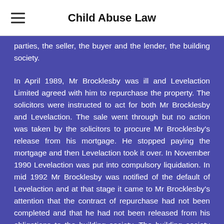Child Abuse Law
parties, the seller, the buyer and the lender, the building society.
In April 1989, Mr Brocklesby was ill and Levelaction Limited agreed with him to repurchase the property. The solicitors were instructed to act for both Mr Brocklesby and Levelaction. The sale went through but no action was taken by the solicitors to procure Mr Brocklesby’s release from his mortgage. He stopped paying the mortgage and then Levelaction took it over. In November 1990 Levelaction was put into compulsory liquidation. In mid 1992 Mr Brocklesby was notified of the default of Levelaction and at that stage it came to Mr Brocklesby’s attention that the contract of repurchase had not been completed and that he had not been released from his obligations to the building society. The building society then sued Mr Brocklesby for £212,895. That action was compromised on the basis that Mr Brocklesby pay the building society £25,000, who then sued his solicitors in